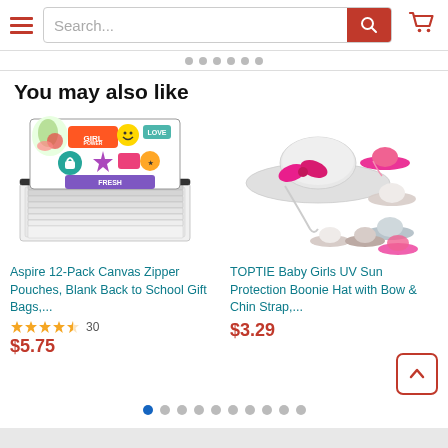[Figure (screenshot): E-commerce website header with hamburger menu, search bar, search button, and cart icon]
[Figure (other): Carousel navigation dots (top)]
You may also like
[Figure (photo): Aspire 12-Pack Canvas Zipper Pouches product image showing colorful pouches with sticker designs and blank white pouches]
Aspire 12-Pack Canvas Zipper Pouches, Blank Back to School Gift Bags,...
[Figure (other): Star rating: 4.5 stars, 30 reviews]
$5.75
[Figure (photo): TOPTIE Baby Girls UV Sun Protection Boonie Hat with Bow & Chin Strap product image showing white hat with pink bow and color variants]
TOPTIE Baby Girls UV Sun Protection Boonie Hat with Bow & Chin Strap,...
$3.29
[Figure (other): Carousel navigation dots (bottom), first dot active/blue]